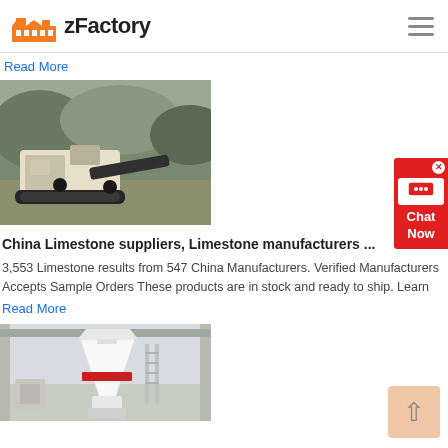zFactory
Read More
[Figure (photo): A limestone crusher/mining machine operating in a quarry with rocky terrain in the background.]
China Limestone suppliers, Limestone manufacturers ...
3,553 Limestone results from 547 China Manufacturers. Verified Manufacturers Accepts Sample Orders These products are in stock and ready to ship. Learn
Read More
[Figure (photo): A large white industrial cone crusher machine inside a factory/plant facility.]